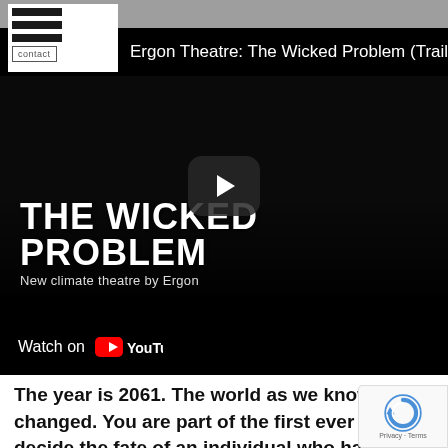[Figure (screenshot): YouTube video thumbnail for 'Ergon Theatre: The Wicked Problem (Trailer)' showing a dark stage scene with bold white text 'THE WICKED PROBLEM' and subtitle 'New climate theatre by Ergon', with a play button in the center and a 'Watch on YouTube' bar at bottom left. A website header with hamburger menu and contact button is overlaid at top left.]
The year is 2061. The world as we know it changed. You are part of the first ever tria decide the fate of an individual who has b.oken